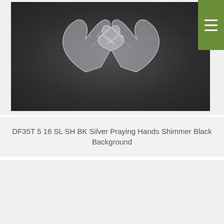[Figure (photo): Black shimmer background texture with silver praying hands in the upper portion. A green hamburger menu icon appears in the top-right corner.]
DF35T 5 16 SL SH BK Silver Praying Hands Shimmer Black Background
[Figure (photo): Blue textured carpet or fabric close-up, partially visible at the bottom of the page.]